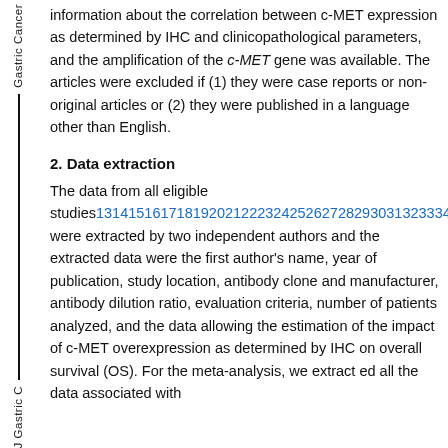information about the correlation between c-MET expression as determined by IHC and clinicopathological parameters, and the amplification of the c-MET gene was available. The articles were excluded if (1) they were case reports or non-original articles or (2) they were published in a language other than English.
2. Data extraction
The data from all eligible studies13141516171819202122232425262728293031323334 were extracted by two independent authors and the extracted data were the first author's name, year of publication, study location, antibody clone and manufacturer, antibody dilution ratio, evaluation criteria, number of patients analyzed, and the data allowing the estimation of the impact of c-MET overexpression as determined by IHC on overall survival (OS). For the meta-analysis, we extract ed all the data associated with